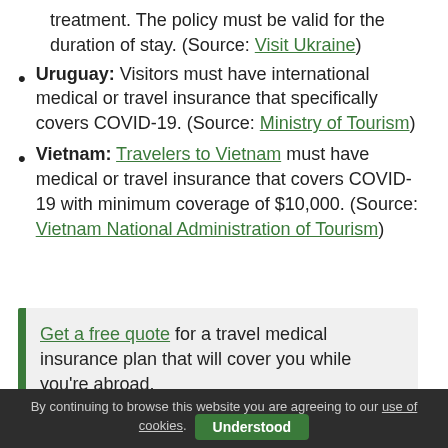treatment. The policy must be valid for the duration of stay. (Source: Visit Ukraine)
Uruguay: Visitors must have international medical or travel insurance that specifically covers COVID-19. (Source: Ministry of Tourism)
Vietnam: Travelers to Vietnam must have medical or travel insurance that covers COVID-19 with minimum coverage of $10,000. (Source: Vietnam National Administration of Tourism)
Get a free quote for a travel medical insurance plan that will cover you while you're abroad.
Share this
By continuing to browse this website you are agreeing to our use of cookies. Understood